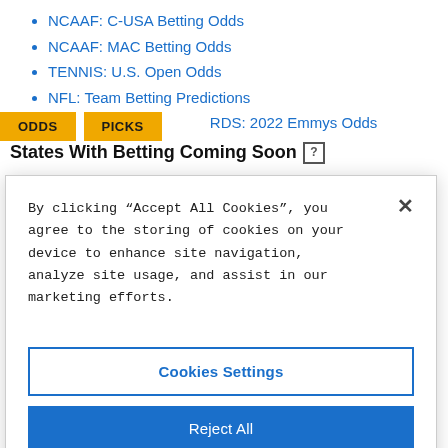NCAAF: C-USA Betting Odds
NCAAF: MAC Betting Odds
TENNIS: U.S. Open Odds
NFL: Team Betting Predictions
RDS: 2022 Emmys Odds
States With Betting Coming Soon ?
By clicking “Accept All Cookies”, you agree to the storing of cookies on your device to enhance site navigation, analyze site usage, and assist in our marketing efforts.
Cookies Settings
Reject All
Accept All Cookies